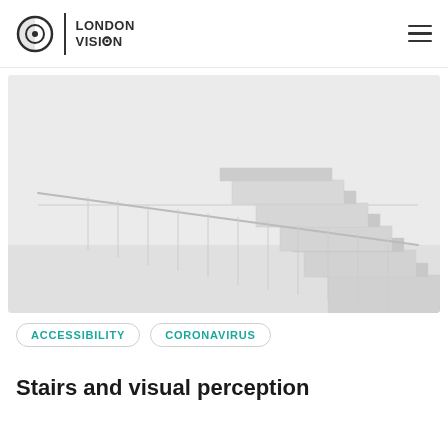London Vision
[Figure (photo): A minimalist white staircase with glass railings ascending diagonally from lower-right to upper-right against a white/light grey wall background.]
ACCESSIBILITY
CORONAVIRUS
Stairs and visual perception